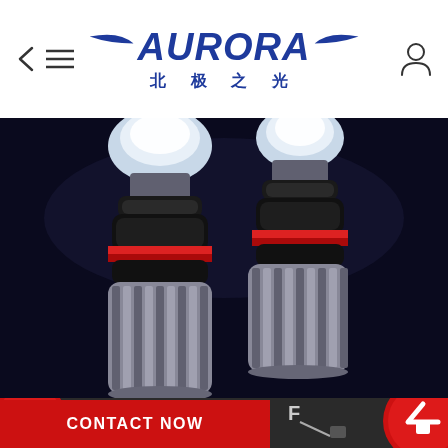AURORA 北极之光 — navigation header with back arrow, menu, logo, and user icon
[Figure (photo): Close-up product photo of two Aurora LED headlight bulbs with black housings, red ring accent, and silver finned heat sinks on dark background]
[Figure (photo): Bottom strip showing red X button on left, fuel gauge dashboard image in center, and partial red circle/X button on right]
CONTACT NOW